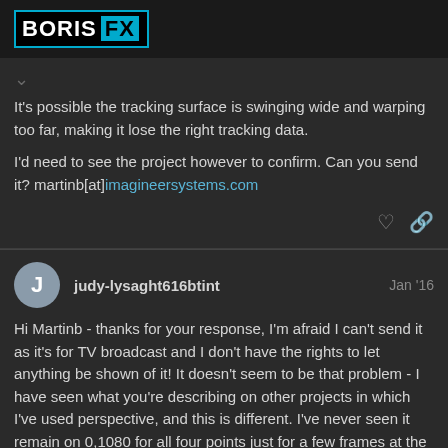BORIS FX
It's possible the tracking surface is swinging wide and warping too far, making it lose the right tracking data.
I'd need to see the project however to confirm. Can you send it? martinb[at]imagineersystems.com
judy-lysaght616btint  Jan '16
Hi Martinb - thanks for your response, I'm afraid I can't send it as it's for TV broadcast and I don't have the rights to let anything be shown of it! It doesn't seem to be that problem - I have seen what you're describing on other projects in which I've used perspective, and this is different. I've never seen it remain on 0,1080 for all four points just for a few frames at the start and end of the shot and then be fine for the rest. It's so strange! I